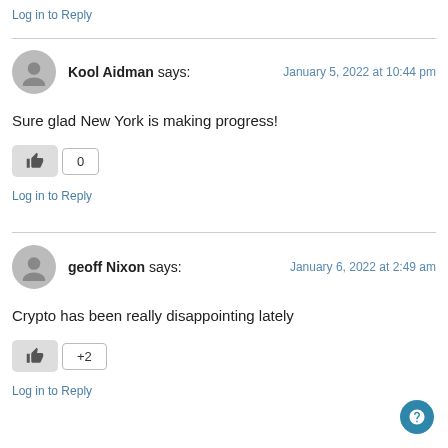Log in to Reply
Kool Aidman says:
January 5, 2022 at 10:44 pm

Sure glad New York is making progress!

0

Log in to Reply
geoff Nixon says:
January 6, 2022 at 2:49 am

Crypto has been really disappointing lately

+2

Log in to Reply